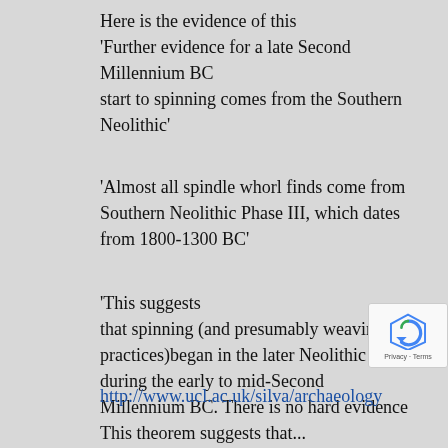Here is the evidence of this 'Further evidence for a late Second Millennium BC start to spinning comes from the Southern Neolithic'
'Almost all spindle whorl finds come from Southern Neolithic Phase III, which dates from 1800-1300 BC'
'This suggests that spinning (and presumably weaving practices)began in the later Neolithic during the early to mid-Second Millennium BC. There is no hard evidence
http://www.ucl.ac.uk/silva/archaeology
This theorem suggests that...